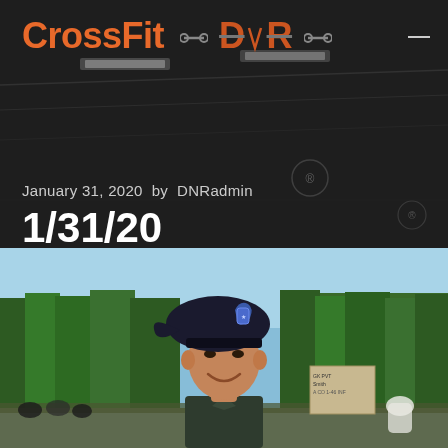CrossFit DNR
January 31, 2020  by  DNRadmin
1/31/20
[Figure (photo): A young man in military uniform wearing a black beret with a blue badge, smiling, outdoors with trees and crowd in background]